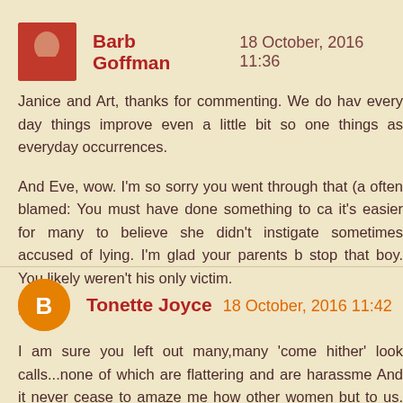[Figure (photo): Avatar photo of Barb Goffman, a woman in a red top]
Barb Goffman     18 October, 2016 11:36
Janice and Art, thanks for commenting. We do hav every day things improve even a little bit so one things as everyday occurrences.
And Eve, wow. I'm so sorry you went through that (a often blamed: You must have done something to ca it's easier for many to believe she didn't instigate sometimes accused of lying. I'm glad your parents b stop that boy. You likely weren't his only victim.
Reply
[Figure (illustration): Orange circle avatar icon with letter B for Blogger]
Tonette Joyce   18 October, 2016 11:42
I am sure you left out many,many 'come hither' look calls...none of which are flattering and are harassme And it never cease to amaze me how other women but to us. Even my mother, who know I was a good